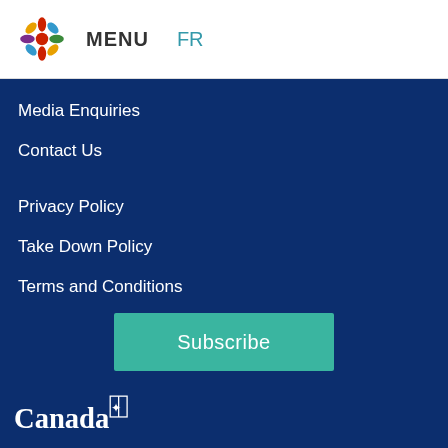MENU  FR
Media Enquiries
Contact Us
Privacy Policy
Take Down Policy
Terms and Conditions
Subscribe
[Figure (logo): Canada government wordmark logo in white]